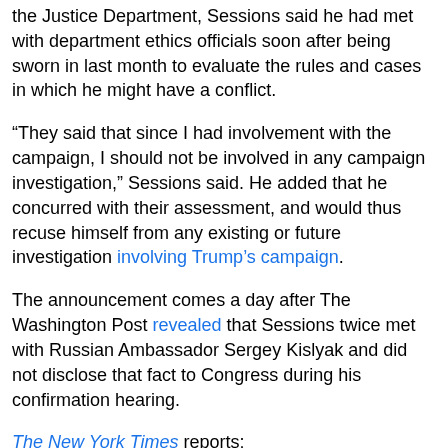the Justice Department, Sessions said he had met with department ethics officials soon after being sworn in last month to evaluate the rules and cases in which he might have a conflict.
“They said that since I had involvement with the campaign, I should not be involved in any campaign investigation,” Sessions said. He added that he concurred with their assessment, and would thus recuse himself from any existing or future investigation involving Trump’s campaign.
The announcement comes a day after The Washington Post revealed that Sessions twice met with Russian Ambassador Sergey Kislyak and did not disclose that fact to Congress during his confirmation hearing.
The New York Times reports:
In the Obama administration’s last days, some White House officials scrambled to spread